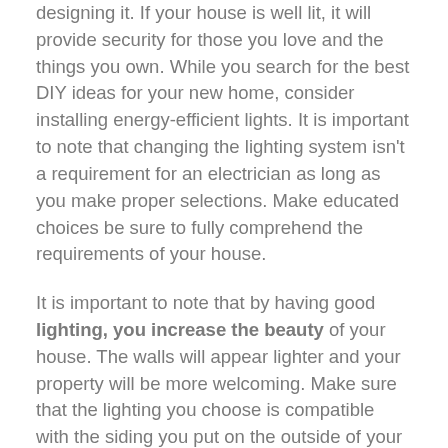designing it. If your house is well lit, it will provide security for those you love and the things you own. While you search for the best DIY ideas for your new home, consider installing energy-efficient lights. It is important to note that changing the lighting system isn't a requirement for an electrician as long as you make proper selections. Make educated choices be sure to fully comprehend the requirements of your house.
It is important to note that by having good lighting, you increase the beauty of your house. The walls will appear lighter and your property will be more welcoming. Make sure that the lighting you choose is compatible with the siding you put on the outside of your house. It's important to search to find the most suitable siding for your home that will match with the fixtures and lighting you wish to install. A reputable siding business will provide extensive guidance as well as make the process more easy for you. You make